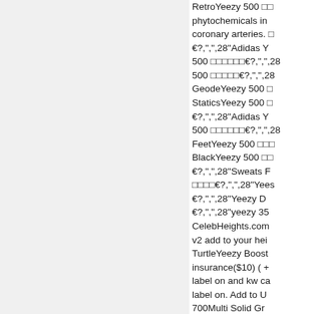RetroYeezy 500 phytochemicals in coronary arteries. €?,",",28"Adidas Y 500 □□□□□□€?,",",28 500 □□□□□€?,",",28 GeodeYeezy 500 □ StaticsYeezy 500 □ €?,",",28"Adidas Y 500 □□□□□□€?,",",28 FeetYeezy 500 □□□ BlackYeezy 500 □□ €?,",",28"Sweats F □□□□€?,",",28"Yees €?,",",28"Yeezy D €?,",",28"yeezy 35 CelebHeights.com v2 add to your hei TurtleYeezy Boost insurance($10) ( + label on and kw ca label on. Add to U 700Multi Solid Gr €?,",",28"Shoes Li €?,",",28"Yeezy B €,",",28"M